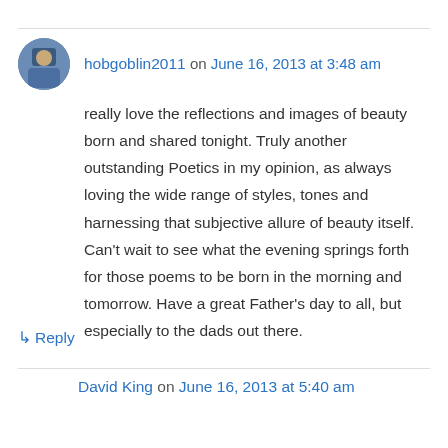hobgoblin2011 on June 16, 2013 at 3:48 am
really love the reflections and images of beauty born and shared tonight. Truly another outstanding Poetics in my opinion, as always loving the wide range of styles, tones and harnessing that subjective allure of beauty itself. Can't wait to see what the evening springs forth for those poems to be born in the morning and tomorrow. Have a great Father's day to all, but especially to the dads out there.
↳ Reply
David King on June 16, 2013 at 5:40 am